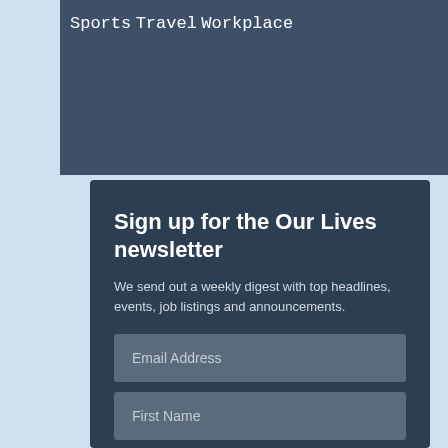Sports
Travel
Workplace
Sign up for the Our Lives newsletter
We send out a weekly digest with top headlines, events, job listings and announcements.
Email Address
First Name